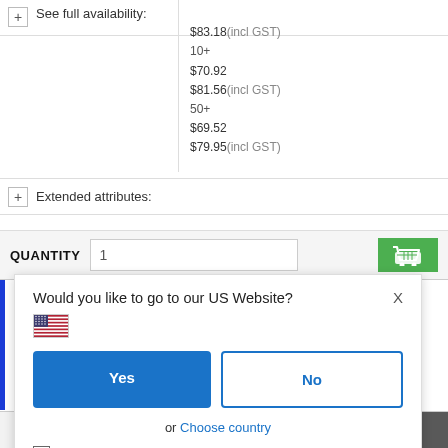See full availability:
10+
$83.18(incl GST)
$70.92
$81.56(incl GST)
50+
$69.52
$79.95(incl GST)
Extended attributes:
QUANTITY  1
Would you like to go to our US Website?
Yes
No
or  Choose country
Remember this choice and automatically redirect me in the future
10+  $29.22